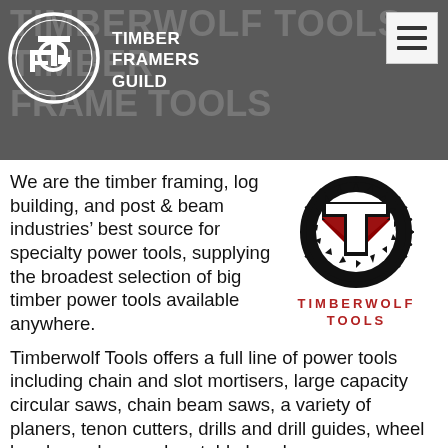TIMBERWOLF TOOLS / TIMBER FRAME TOOLS
[Figure (logo): Timber Framers Guild circular logo with TF initials]
TIMBER FRAMERS GUILD
[Figure (logo): Timberwolf Tools circular saw blade logo with wolf head and T letter, with TIMBERWOLF TOOLS text in red below]
We are the timber framing, log building, and post & beam industries' best source for specialty power tools, supplying the broadest selection of big timber power tools available anywhere.
Timberwolf Tools offers a full line of power tools including chain and slot mortisers, large capacity circular saws, chain beam saws, a variety of planers, tenon cutters, drills and drill guides, wheel brush sanders, and portable hand saws.